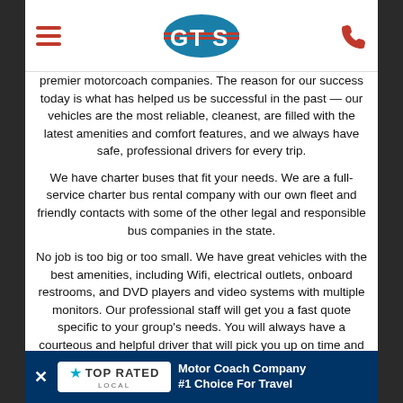GTS logo with hamburger menu and phone icon
premier motorcoach companies. The reason for our success today is what has helped us be successful in the past — our vehicles are the most reliable, cleanest, are filled with the latest amenities and comfort features, and we always have safe, professional drivers for every trip.
We have charter buses that fit your needs. We are a full-service charter bus rental company with our own fleet and friendly contacts with some of the other legal and responsible bus companies in the state.
No job is too big or too small. We have great vehicles with the best amenities, including Wifi, electrical outlets, onboard restrooms, and DVD players and video systems with multiple monitors. Our professional staff will get you a fast quote specific to your group's needs. You will always have a courteous and helpful driver that will pick you up on time and get you to your destination safe and sound.
How do you kn... real fleet of veh...
[Figure (other): Top Rated Local banner advertisement: Motor Coach Company #1 Choice For Travel]